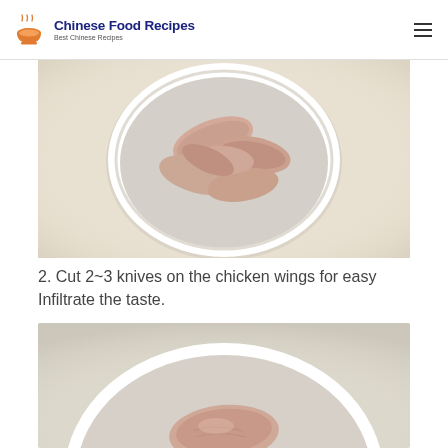Chinese Food Recipes — Best Chinese Recipes
[Figure (photo): Top-down view of a white ceramic bowl filled with raw chicken wings on a light beige background.]
2. Cut 2~3 knives on the chicken wings for easy Infiltrate the taste.
[Figure (photo): Close-up of a white bowl containing a raw chicken wing piece, light background, partially cropped.]